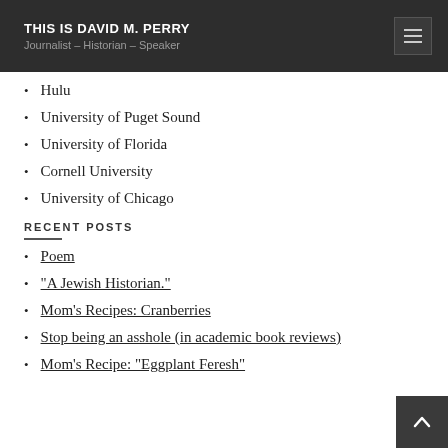THIS IS DAVID M. PERRY | Journalist – Historian – Speaker
Hulu
University of Puget Sound
University of Florida
Cornell University
University of Chicago
RECENT POSTS
Poem
“A Jewish Historian.”
Mom’s Recipes: Cranberries
Stop being an asshole (in academic book reviews)
Mom’s Recipe: “Eggplant Feresh”